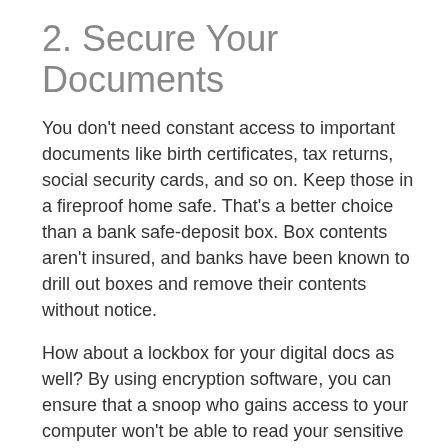2. Secure Your Documents
You don’t need constant access to important documents like birth certificates, tax returns, social security cards, and so on. Keep those in a fireproof home safe. That’s a better choice than a bank safe-deposit box. Box contents aren’t insured, and banks have been known to drill out boxes and remove their contents without notice.
How about a lockbox for your digital docs as well? By using encryption software, you can ensure that a snoop who gains access to your computer won’t be able to read your sensitive documents.
3. Power Up Your Passwords
It’s true that a breach at any secure site could